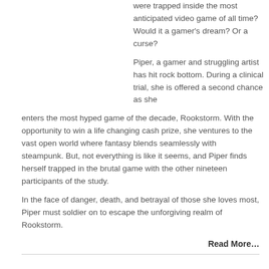were trapped inside the most anticipated video game of all time? Would it a gamer's dream? Or a curse?
Piper, a gamer and struggling artist has hit rock bottom. During a clinical trial, she is offered a second chance as she enters the most hyped game of the decade, Rookstorm. With the opportunity to win a life changing cash prize, she ventures to the vast open world where fantasy blends seamlessly with steampunk. But, not everything is like it seems, and Piper finds herself trapped in the brutal game with the other nineteen participants of the study.
In the face of danger, death, and betrayal of those she loves most, Piper must soldier on to escape the unforgiving realm of Rookstorm.
Read More…